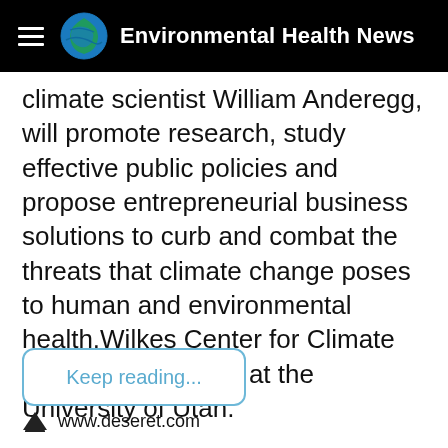Environmental Health News
climate scientist William Anderegg, will promote research, study effective public policies and propose entrepreneurial business solutions to curb and combat the threats that climate change poses to human and environmental health.Wilkes Center for Climate Science and Policy at the University of Utah.
Keep reading...
www.deseret.com